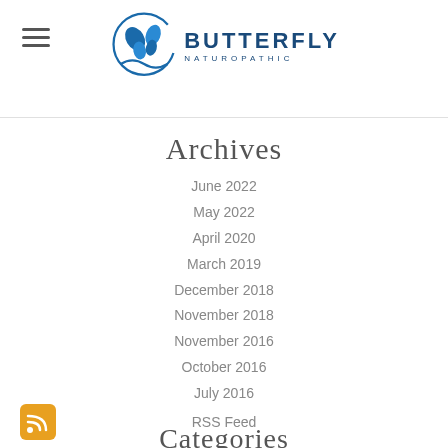Butterfly Naturopathic
Archives
June 2022
May 2022
April 2020
March 2019
December 2018
November 2018
November 2016
October 2016
July 2016
Categories
All
Recipes
RSS Feed